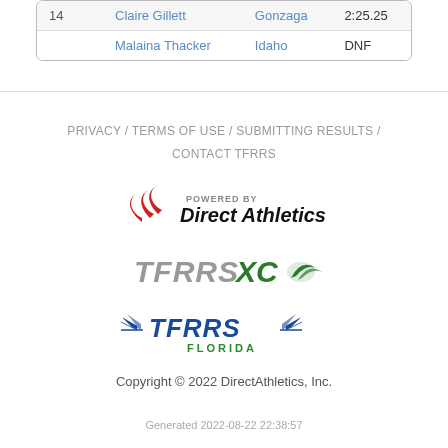| # | Name | School | Time |
| --- | --- | --- | --- |
| 14 | Claire Gillett | Gonzaga | 2:25.25 |
|  | Malaina Thacker | Idaho | DNF |
PRIVACY / TERMS OF USE / SUBMITTING RESULTS / CONTACT TFRRS
[Figure (logo): Powered by Direct Athletics logo with red swoosh icon]
[Figure (logo): TFRRS XC logo with green wing icon]
[Figure (logo): TFRRS Florida logo with blue wings]
Copyright © 2022 DirectAthletics, Inc.
Generated 2022-08-22 22:38:57